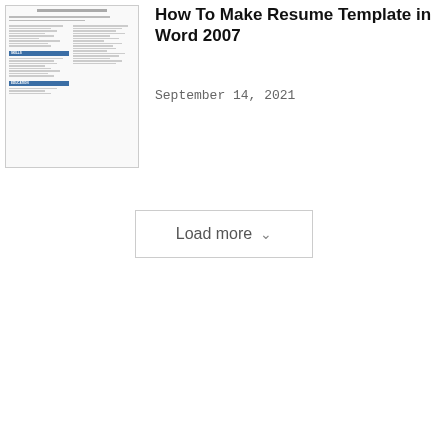[Figure (screenshot): Thumbnail preview of a resume template document showing a two-column layout with blue section headers for Skills and Education sections.]
How To Make Resume Template in Word 2007
September 14, 2021
Load more